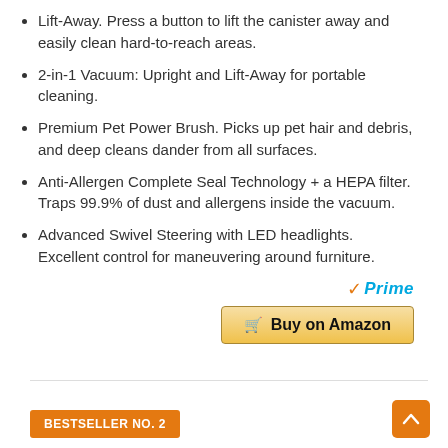Lift-Away. Press a button to lift the canister away and easily clean hard-to-reach areas.
2-in-1 Vacuum: Upright and Lift-Away for portable cleaning.
Premium Pet Power Brush. Picks up pet hair and debris, and deep cleans dander from all surfaces.
Anti-Allergen Complete Seal Technology + a HEPA filter. Traps 99.9% of dust and allergens inside the vacuum.
Advanced Swivel Steering with LED headlights. Excellent control for maneuvering around furniture.
[Figure (logo): Amazon Prime logo with checkmark and 'Prime' text in blue italic]
[Figure (other): Buy on Amazon button with shopping cart icon, gold gradient background]
BESTSELLER NO. 2